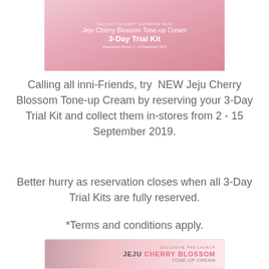[Figure (photo): Pink promotional banner for Jeju Cherry Blossom Tone-up Cream 3-Day Trial Kit with text 'Delight in Dewy Glowing Skin', 'Jeju Cherry Blossom Tone-up Cream 3-Day Trial Kit', and 'Redemption Period: 2 - 15 September 2019']
Calling all inni-Friends, try  NEW Jeju Cherry Blossom Tone-up Cream by reserving your 3-Day Trial Kit and collect them in-stores from 2 - 15 September 2019.
Better hurry as reservation closes when all 3-Day Trial Kits are fully reserved.
*Terms and conditions apply.
Official Launch at Lazada. Click here
[Figure (photo): Pink promotional banner showing a woman and text 'Exclusive Pre-Launch JEJU CHERRY BLOSSOM TONE-UP CREAM']